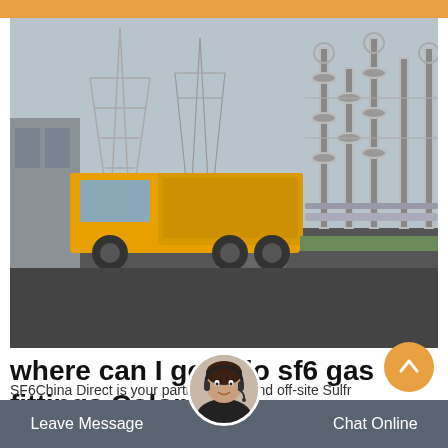[Figure (photo): A yellow utility truck parked at an electrical substation with high-voltage transmission towers and equipment in the background]
where can I get dilo sf6 gas fittings Colombia
SF6China Direct is your partner for on and off-site Sulfr
Leave Message   Chat Online